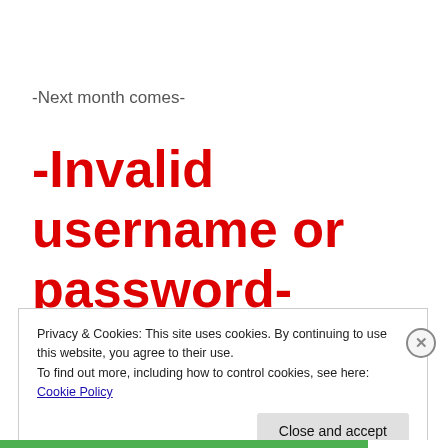-Next month comes-
-Invalid username or password-
Privacy & Cookies: This site uses cookies. By continuing to use this website, you agree to their use.
To find out more, including how to control cookies, see here: Cookie Policy
Close and accept